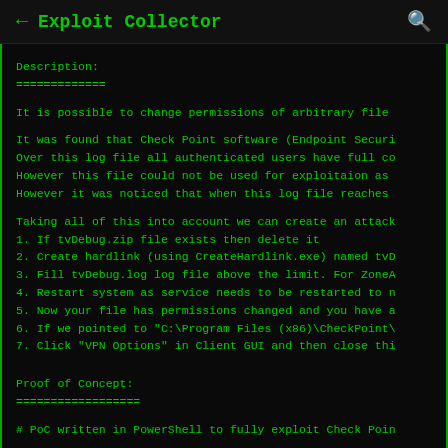← Exploit Collector 🔍
Description:
=============
It is possible to change permissions of arbitrary file
It was found that Check Point software (Endpoint Securi
Over this log file all authenticated users have full co
However this file could not be used for exploitaion as
However it was noticed that when this log file reaches
Taking all of this into account we can create an attack
1. If tvDebug.zip file exists then delete it
2. Create hardlink (using CreateHardlink.exe) named tvD
3. Fill tvDebug.log log file above the limit. For ZoneA
4. Restart system as service needs to be restarted to n
5. Now your file has permissions changed and you have a
6. If we pointed to "C:\Program Files (x86)\CheckPoint\
7. Click "VPN Options" in Client GUI and then close thi
Proof of Concept:
==================
# PoC written in PowerShell to fully exploit Check Poin
# file that we want to have permissions to